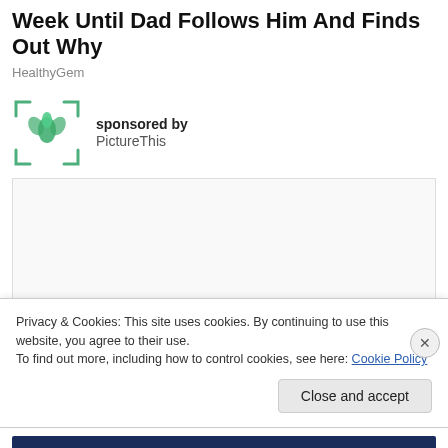Week Until Dad Follows Him And Finds Out Why
HealthyGem
sponsored by PictureThis
[Figure (other): Advertisement placeholder box, light gray background with border]
Privacy & Cookies: This site uses cookies. By continuing to use this website, you agree to their use.
To find out more, including how to control cookies, see here: Cookie Policy
Close and accept